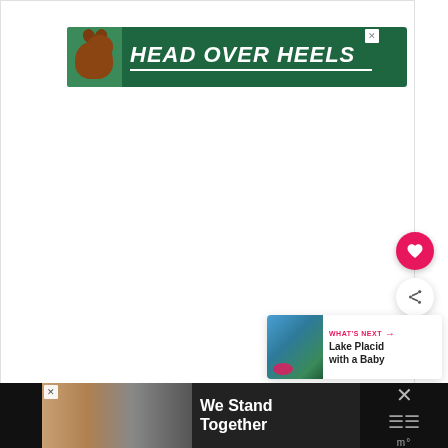[Figure (illustration): Advertisement banner with dark green background featuring a brown dog and bold white italic text reading HEAD OVER HEELS with an underline. Has a close/X button in top right corner.]
[Figure (illustration): Pink/red circular floating action button with a white heart icon.]
[Figure (illustration): White circular floating action button with a share icon (three dots connected by lines) and a plus symbol.]
[Figure (illustration): WHAT'S NEXT card with a thumbnail image of a lake/nature scene and text: WHAT'S NEXT → Lake Placid with a Baby]
[Figure (illustration): Bottom advertisement banner showing a group of people with arms around each other and text 'We Stand Together' on dark background, with X icons on the right side.]